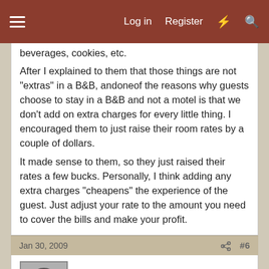Log in  Register
beverages, cookies, etc.
After I explained to them that those things are not "extras" in a B&B, andoneof the reasons why guests choose to stay in a B&B and not a motel is that we don't add on extra charges for every little thing. I encouraged them to just raise their room rates by a couple of dollars.
It made sense to them, so they just raised their rates a few bucks. Personally, I think adding any extra charges "cheapens" the experience of the guest. Just adjust your rate to the amount you need to cover the bills and make your profit.
Jan 30, 2009  #6
swirt
Forum founder. Former Owner.